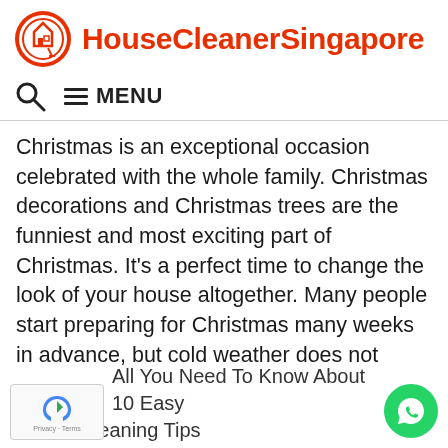HouseCleanerSingapore
MENU
Christmas is an exceptional occasion celebrated with the whole family. Christmas decorations and Christmas trees are the funniest and most exciting part of Christmas. It's a perfect time to change the look of your house altogether. Many people start preparing for Christmas many weeks in advance, but cold weather does not allow them to enjoy the party enough.
All You Need To Know About 10 Easy House Cleaning Tips